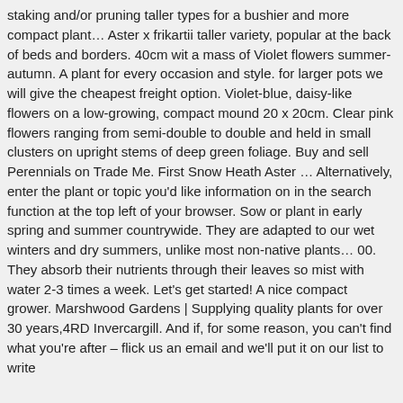staking and/or pruning taller types for a bushier and more compact plant… Aster x frikartii taller variety, popular at the back of beds and borders. 40cm wit a mass of Violet flowers summer-autumn. A plant for every occasion and style. for larger pots we will give the cheapest freight option. Violet-blue, daisy-like flowers on a low-growing, compact mound 20 x 20cm. Clear pink flowers ranging from semi-double to double and held in small clusters on upright stems of deep green foliage. Buy and sell Perennials on Trade Me. First Snow Heath Aster … Alternatively, enter the plant or topic you'd like information on in the search function at the top left of your browser. Sow or plant in early spring and summer countrywide. They are adapted to our wet winters and dry summers, unlike most non-native plants… 00. They absorb their nutrients through their leaves so mist with water 2-3 times a week. Let's get started! A nice compact grower. Marshwood Gardens | Supplying quality plants for over 30 years,4RD Invercargill. And if, for some reason, you can't find what you're after – flick us an email and we'll put it on our list to write